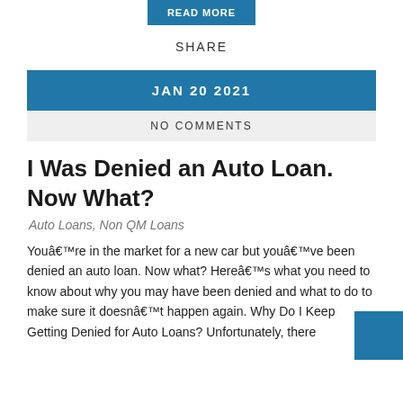[Figure (other): A blue 'READ MORE' button at the top center of the page]
SHARE
JAN 20 2021
NO COMMENTS
I Was Denied an Auto Loan. Now What?
Auto Loans, Non QM Loans
Youâre in the market for a new car but youâve been denied an auto loan. Now what? Hereâs what you need to know about why you may have been denied and what to do to make sure it doesnât happen again. Why Do I Keep Getting Denied for Auto Loans? Unfortunately, there